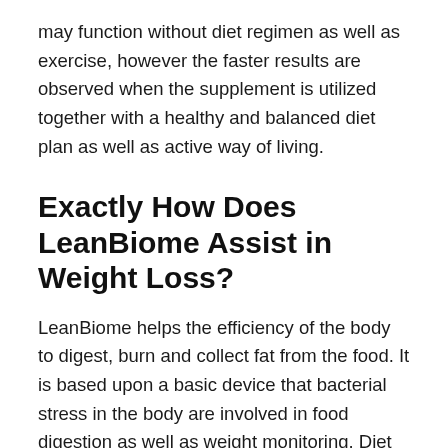may function without diet regimen as well as exercise, however the faster results are observed when the supplement is utilized together with a healthy and balanced diet plan as well as active way of living.
Exactly How Does LeanBiome Assist in Weight Loss?
LeanBiome helps the efficiency of the body to digest, burn and collect fat from the food. It is based upon a basic device that bacterial stress in the body are involved in food digestion as well as weight monitoring. Diet plan tablets are usually considered hazardous and risky, which holds true